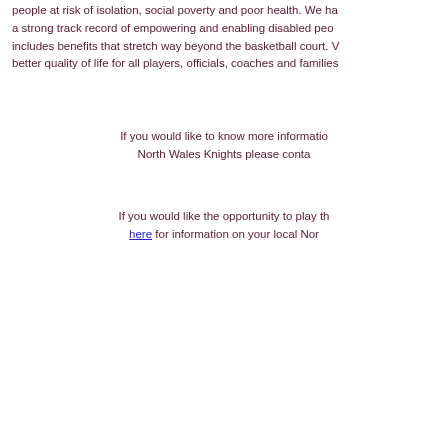people at risk of isolation, social poverty and poor health. We have a strong track record of empowering and enabling disabled people includes benefits that stretch way beyond the basketball court. We better quality of life for all players, officials, coaches and families
If you would like to know more information North Wales Knights please contact
If you would like the opportunity to play through here for information on your local Nor